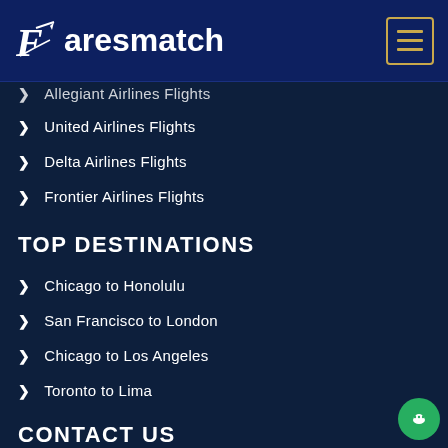Faresmatch
Allegiant Airlines Flights
United Airlines Flights
Delta Airlines Flights
Frontier Airlines Flights
TOP DESTINATIONS
Chicago to Honolulu
San Francisco to London
Chicago to Los Angeles
Toronto to Lima
CONTACT US
6896 San Bernardo Cir Buena Park 90620 CA, USA